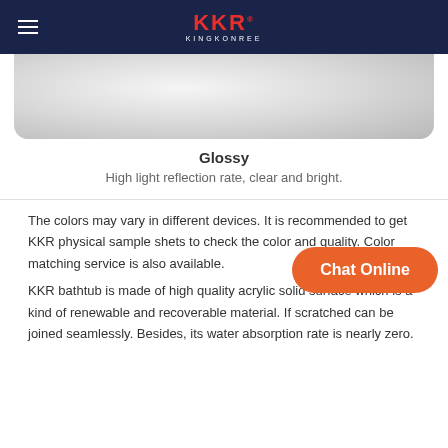KKR KINGKONREE
[Figure (photo): Close-up photo of a glossy white bathtub surface showing smooth curved edges and reflective finish]
Glossy
High light reflection rate, clear and bright.
The colors may vary in different devices. It is recommended to get KKR physical sample shets to check the color and quality. Color matching service is also available.
KKR bathtub is made of high quality acrylic solid surface which is a kind of renewable and recoverable material. If scratched can be joined seamlessly. Besides, its water absorption rate is nearly zero.